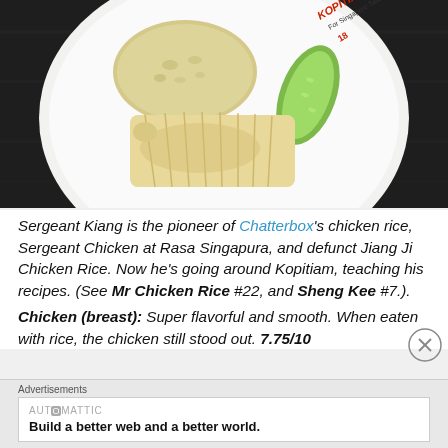[Figure (photo): A white plate with Hainanese chicken rice — sliced poached chicken breast, a mound of fragrant rice, and sliced cucumber, on a dark wooden table. The plate has a Kopitiam logo.]
Sergeant Kiang is the pioneer of Chatterbox's chicken rice, Sergeant Chicken at Rasa Singapura, and defunct Jiang Ji Chicken Rice. Now he's going around Kopitiam, teaching his recipes. (See Mr Chicken Rice #22, and Sheng Kee #7.).
Chicken (breast): Super flavorful and smooth. When eaten with rice, the chicken still stood out. 7.75/10
Advertisements
AUTOMATTIC
Build a better web and a better world.